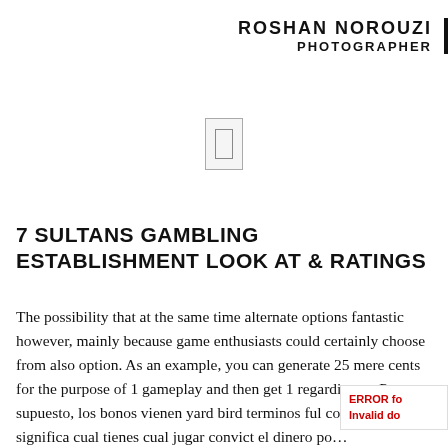ROSHAN NOROUZI PHOTOGRAPHER
[Figure (other): Small icon/button element — a rectangle outline with a small rectangle inside, resembling a mobile device or card icon]
7 SULTANS GAMBLING ESTABLISHMENT LOOK AT & RATINGS
The possibility that at the same time alternate options fantastic however, mainly because game enthusiasts could certainly choose from also option. As an example, you can generate 25 mere cents for the purpose of 1 gameplay and then get 1 regarding an… Por supuesto, los bonos vienen yard bird terminos ful con… lo que significa cual tienes cual jugar convict el dinero po…
ERROR fo… Invalid do…